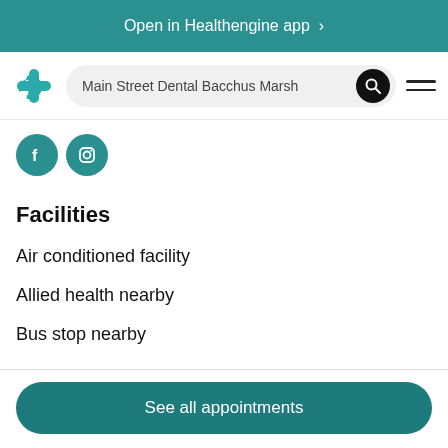Open in Healthengine app >
[Figure (screenshot): Healthengine app logo (teal cross/plus icon) and search bar showing 'Main Street Dental Bacchus Marsh' with search button and hamburger menu]
[Figure (logo): Facebook and Instagram social media icon buttons in teal circles]
Facilities
Air conditioned facility
Allied health nearby
Bus stop nearby
See all appointments